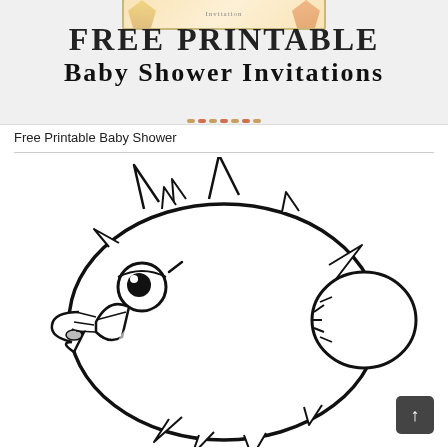[Figure (illustration): Banner image with light gray background showing text 'FREE PRINTABLE Baby Shower Invitations' in decorative black lettering, with a colorful floral/tropical baby shower invitation card visible at the top edge]
Free Printable Baby Shower
[Figure (illustration): Black and white line drawing / coloring page illustration of a cartoon puffer fish (blowfish) with spines, a large round eye, open smiling mouth, and a round fin on the right side]